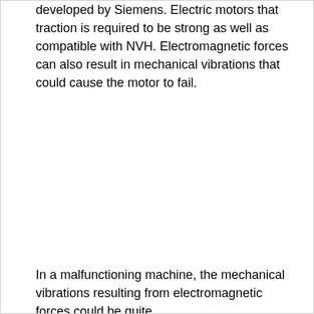developed by Siemens. Electric motors that traction is required to be strong as well as compatible with NVH. Electromagnetic forces can also result in mechanical vibrations that could cause the motor to fail.
In a malfunctioning machine, the mechanical vibrations resulting from electromagnetic forces could be quite